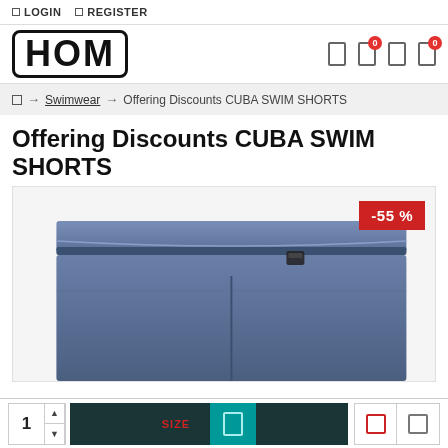LOGIN  REGISTER
[Figure (logo): HOM brand logo in bold block letters with border]
→ Swimwear → Offering Discounts CUBA SWIM SHORTS
Offering Discounts CUBA SWIM SHORTS
[Figure (photo): Blue Cuba swim shorts product photo with -55% red discount badge in top right corner]